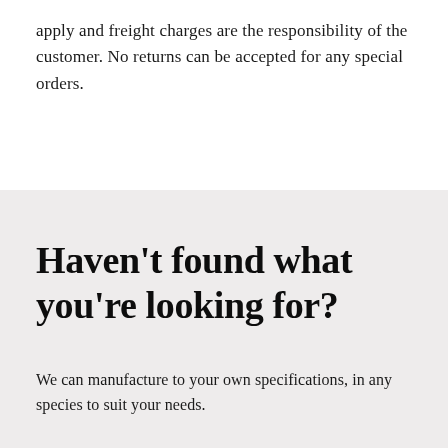apply and freight charges are the responsibility of the customer. No returns can be accepted for any special orders.
Haven't found what you're looking for?
We can manufacture to your own specifications, in any species to suit your needs.